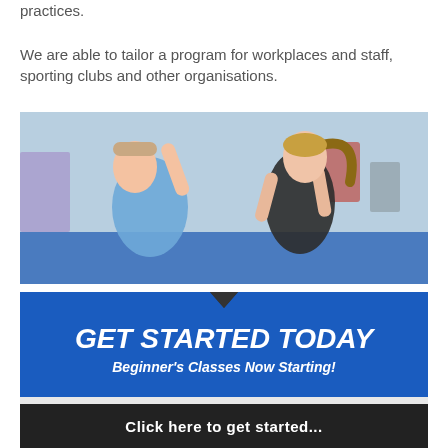practices.

We are able to tailor a program for workplaces and staff, sporting clubs and other organisations.
[Figure (photo): A woman in a black sports top practicing a self-defense palm strike move on a man in a blue tank top in a gym setting]
[Figure (infographic): Blue call-to-action banner with black downward arrow at top, large bold italic white text 'GET STARTED TODAY', italic white subtitle 'Beginner's Classes Now Starting!']
Click here to get started...